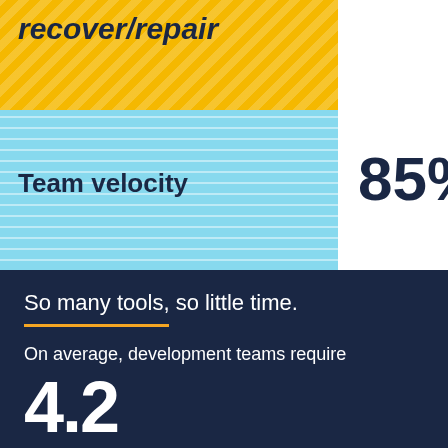recover/repair
Team velocity
85%
So many tools, so little time.
On average, development teams require
4.2